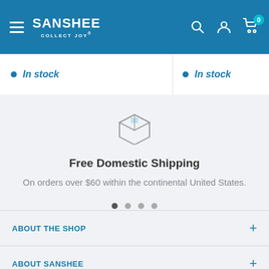Sanshee — Collect Joy. Navigation bar with hamburger menu, logo, search, account, and cart icons.
In stock (left column)
In stock (right column)
[Figure (illustration): Box/package outline icon in gray and light blue]
Free Domestic Shipping
On orders over $60 within the continental United States.
[Figure (other): Carousel navigation dots, 4 dots with first active]
ABOUT THE SHOP
ABOUT SANSHEE